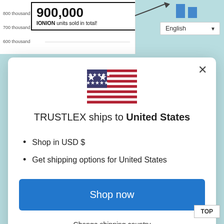[Figure (screenshot): Partial background showing chart with y-axis labels: 800 thousand, 700 thousand, 600 thousand; callout box showing '900,000 IONION units sold in total!'; English language dropdown; mini bar chart in top right corner]
[Figure (infographic): US flag emoji/icon centered at top of modal]
TRUSTLEX ships to United States
Shop in USD $
Get shipping options for United States
Shop now
Change shipping country
Philippines, Cambodia, and Brunei—and in I Australia, New Zealand, Turkey, the UK, the Czech